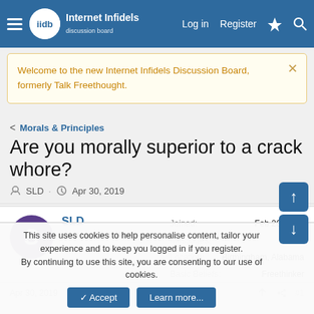Internet Infidels Discussion Board — Log in  Register
Welcome to the new Internet Infidels Discussion Board, formerly Talk Freethought.
< Morals & Principles
Are you morally superior to a crack whore?
SLD · Apr 30, 2019
SLD
Veteran Member
Joined: Feb 26, 2001
Messages: 3,831
Location: Birmingham, Alabama
Basic Beliefs: Freethinker
Apr 30, 2019  #1
This site uses cookies to help personalise content, tailor your experience and to keep you logged in if you register.
By continuing to use this site, you are consenting to our use of cookies.